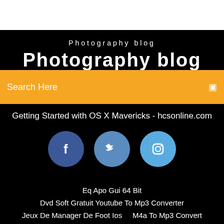Photography blog
Photography blog (large title, partially visible)
Search Here
Getting Started with OS X Mavericks - hcsonline.com
[Figure (illustration): Three social media icons in circles: Facebook (dark blue), Twitter (medium blue), Instagram (light blue)]
Eq Apo Gui 64 Bit
Dvd Soft Gratuit Youtube To Mp3 Converter
Jeux De Manager De Foot Ios    M4a To Mp3 Convert